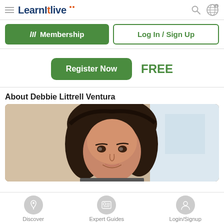[Figure (screenshot): LearnItLive website header with hamburger menu, logo, search icon, and globe/currency icon]
[Figure (screenshot): Green 'LIL Membership' button and outlined 'Log In / Sign Up' button]
[Figure (screenshot): Green 'Register Now' button with 'FREE' text in green]
About Debbie Littrell Ventura
[Figure (photo): Portrait photo of Debbie Littrell Ventura, a woman with dark hair, smiling]
[Figure (screenshot): Bottom navigation bar with Discover, Expert Guides, and Login/Signup icons]